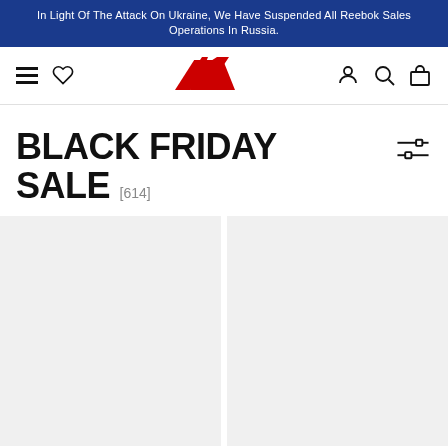In Light Of The Attack On Ukraine, We Have Suspended All Reebok Sales Operations In Russia.
[Figure (logo): Reebok logo in red, hamburger menu icon, heart/wishlist icon, user icon, search icon, bag/cart icon]
BLACK FRIDAY SALE [614]
[Figure (other): Two product placeholder cards side by side in light gray]